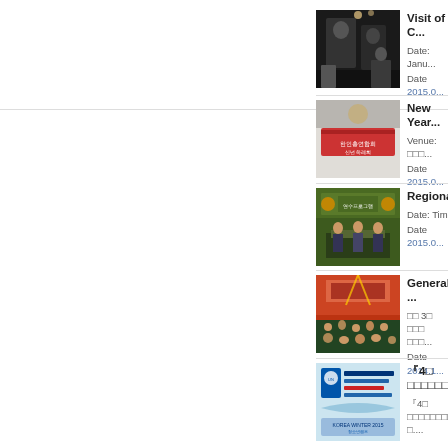[Figure (photo): People standing in a hallway/venue, dark toned photo]
Visit of C...
Date: Janu...
Date 2015.0...
[Figure (photo): Banner with Korean text for New Year gathering]
New Year...
Venue: □□□...
Date 2015.0...
[Figure (photo): Panel discussion at a regional event with banner]
Regiona...
Date: Time...
Date 2015.0...
[Figure (photo): Large assembly hall gathering]
General ...
□□ 3□ □□□ □□□...
Date 2014.1...
[Figure (photo): WFUNA Youth Camp Korea Winter 2015 poster/banner]
『4□ □□□□□□□□□...
『4□ □□□□□□□□□ UN) □....